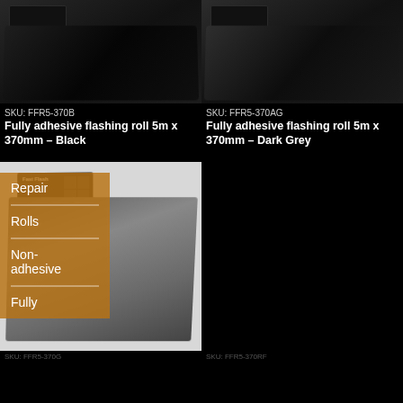[Figure (photo): Fully adhesive flashing roll product photo - Black version, showing box and unrolled black flashing material on dark background]
SKU: FFR5-370B
Fully adhesive flashing roll 5m x 370mm – Black
[Figure (photo): Fully adhesive flashing roll product photo - Dark Grey version, showing box and unrolled dark grey flashing material on dark background]
SKU: FFR5-370AG
Fully adhesive flashing roll 5m x 370mm – Dark Grey
[Figure (photo): Fast Flash flashing roll product photo showing box and unrolled grey flashing material on light background]
Repair
Rolls
Non-adhesive
Fully
SKU: FFR5-370G
SKU: FFR5-370RF